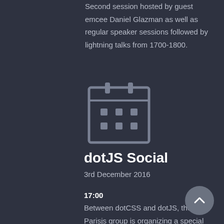Second session hosted by guest emcee Daniel Glazman as well as regular speaker sessions followed by lightning talks from 1700-1800.
[Figure (illustration): Calendar icon — a square calendar outline with two tabs at top and a 2×3 grid of small squares inside]
dotJS Social
3rd December 2016
17:00
Between dotCSS and dotJS, the Parisjs group is organizing a special meetup hosted by Onepoint. This will